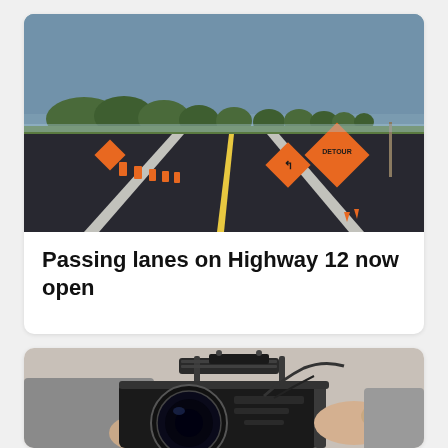[Figure (photo): Road with orange detour and warning signs, yellow lane markings, trees in background under grey-blue sky]
Passing lanes on Highway 12 now open
[Figure (photo): Person holding a professional camera rig with cage and handle, camera with large lens, light grey background]